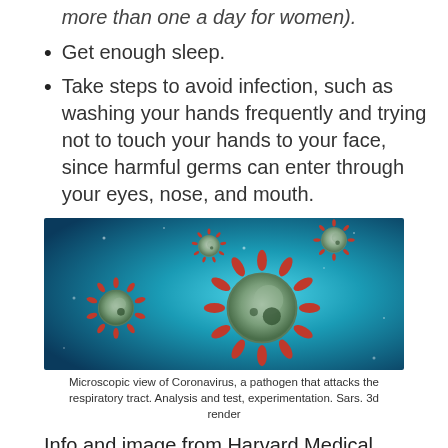more than one a day for women).
Get enough sleep.
Take steps to avoid infection, such as washing your hands frequently and trying not to touch your hands to your face, since harmful germs can enter through your eyes, nose, and mouth.
[Figure (photo): Microscopic 3D render of Coronavirus particles with red spike proteins on a blue background]
Microscopic view of Coronavirus, a pathogen that attacks the respiratory tract. Analysis and test, experimentation. Sars. 3d render
Info and image from Harvard Medical School.